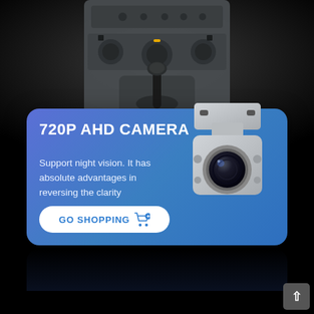[Figure (photo): Car interior dashboard with gear shift and HVAC controls, viewed from center console, dark background]
720P AHD CAMERA
Support night vision. It has absolute advantages in reversing the clarity
GO SHOPPING 🛒
[Figure (photo): 720P AHD backup camera, silver/metallic housing, wide-angle lens, clip-mount style]